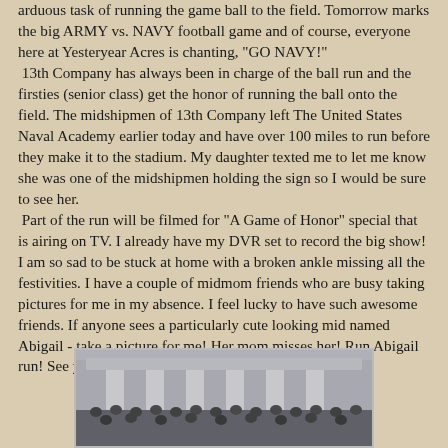arduous task of running the game ball to the field.  Tomorrow marks the big ARMY vs. NAVY football game and of course, everyone here at Yesteryear Acres is chanting, "GO NAVY!"  13th Company has always been in charge of the ball run and the firsties (senior class) get the honor of running the ball onto the field. The midshipmen of 13th Company left The United States Naval Academy earlier today and have over 100 miles to run before they make it to the stadium.  My daughter texted me to let me know she was one of the midshipmen holding the sign so I would be sure to see her.  Part of the run will be filmed for "A Game of Honor" special that is airing on TV. I already have my DVR set to record the big show!  I am so sad to be stuck at home with a broken ankle missing all the festivities.  I have a couple of midmom friends who are busy taking pictures for me in my absence.  I feel lucky to have such awesome friends.  If anyone sees a particularly cute looking mid named Abigail - take a picture for me!  Her mom misses her!  Run Abigail run!  See you on TV tomorrow!  GO NAVY!
[Figure (photo): Group photo of naval midshipmen in uniform standing in front of a large stone building with columns]